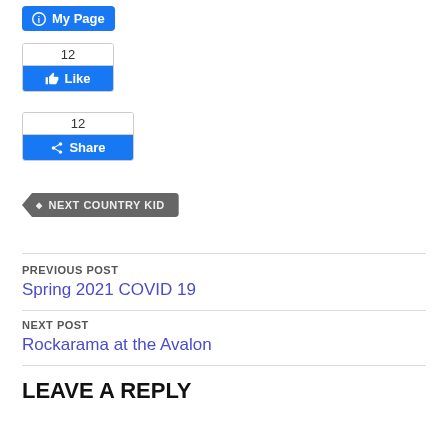[Figure (screenshot): Facebook 'My Page' button - blue rounded button with circle icon and text 'My Page']
[Figure (screenshot): Facebook Like widget with count 12 and blue Like button]
[Figure (screenshot): Facebook Share widget with count 12 and blue Share button]
[Figure (other): Tag/label shaped grey button with text 'NEXT COUNTRY KID']
PREVIOUS POST
Spring 2021 COVID 19
NEXT POST
Rockarama at the Avalon
LEAVE A REPLY